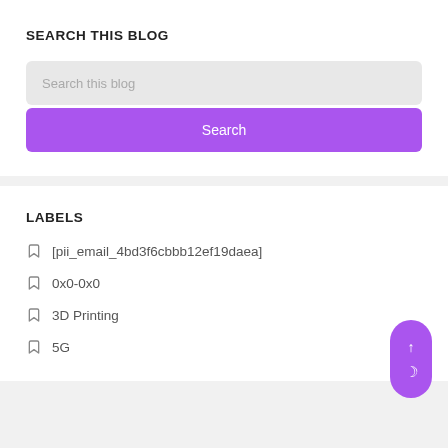SEARCH THIS BLOG
Search this blog
Search
LABELS
[pii_email_4bd3f6cbbb12ef19daea]
0x0-0x0
3D Printing
5G